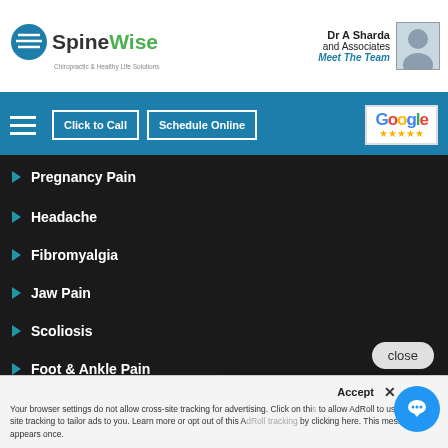[Figure (screenshot): SpineWise chiropractic clinic website screenshot showing navigation menu with list of conditions, a chat popup, and cookie consent bar]
SpineWise - Dr A Sharda and Associates - Meet The Team
Pregnancy Pain
Headache
Fibromyalgia
Jaw Pain
Scoliosis
Foot & Ankle Pain
Neck Pain
Joint Pain
Stress
Knee Pain
Sciatica
Have a question? Click and we'll send you a special just for asking!
Your browser settings do not allow cross-site tracking for advertising. Click on this to allow AdRoll to use cross-site tracking to tailor ads to you. Learn more or opt out of this AdRoll tracking by clicking here. This message only appears once.